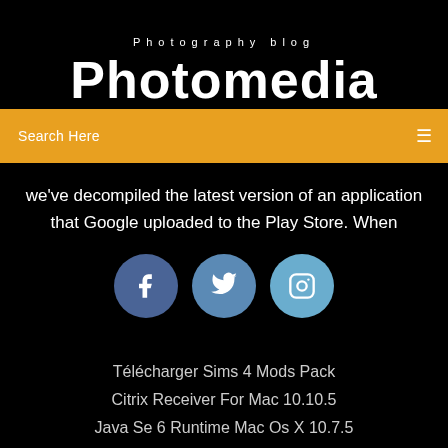Photography blog
Photomedia
Search Here
we've decompiled the latest version of an application that Google uploaded to the Play Store. When
[Figure (infographic): Three circular social media icons: Facebook (dark blue), Twitter (medium blue), Instagram (light blue)]
Télécharger Sims 4 Mods Pack
Citrix Receiver For Mac 10.10.5
Java Se 6 Runtime Mac Os X 10.7.5